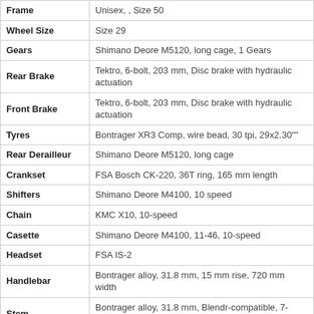| Component | Specification |
| --- | --- |
| Frame | Unisex, , Size 50 |
| Wheel Size | Size 29 |
| Gears | Shimano Deore M5120, long cage, 1 Gears |
| Rear Brake | Tektro, 6-bolt, 203 mm, Disc brake with hydraulic actuation |
| Front Brake | Tektro, 6-bolt, 203 mm, Disc brake with hydraulic actuation |
| Tyres | Bontrager XR3 Comp, wire bead, 30 tpi, 29x2.30"" |
| Rear Derailleur | Shimano Deore M5120, long cage |
| Crankset | FSA Bosch CK-220, 36T ring, 165 mm length |
| Shifters | Shimano Deore M4100, 10 speed |
| Chain | KMC X10, 10-speed |
| Casette | Shimano Deore M4100, 11-46, 10-speed |
| Headset | FSA IS-2 |
| Handlebar | Bontrager alloy, 31.8 mm, 15 mm rise, 720 mm width |
| Stem | Bontrager alloy, 31.8 mm, Blendr-compatible, 7-degree, 70 mm length |
| Bartape / Grips | Bontrager XR Trail Comp, nylon lock-on |